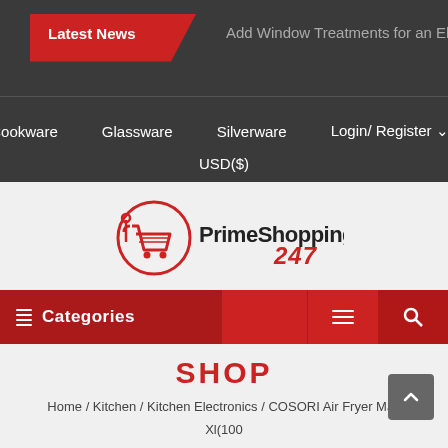Latest News   Add Window Treatments for an Elegant Touc
Cookware   Glassware   Silverware   Login/ Register   USD($)
[Figure (logo): PrimeShopping247 logo with shopping cart icon in red circle]
Categories
SHOP
Home / Kitchen / Kitchen Electronics / COSORI Air Fryer Max Xl(100 Recipes) Digital Hot Oven Cooker, One Touch Screen with 13 Cooking Functions, Preheat and...